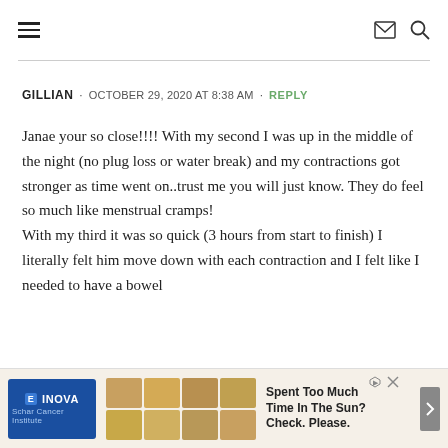Navigation menu, mail and search icons
GILLIAN · OCTOBER 29, 2020 AT 8:38 AM · REPLY
Janae your so close!!!! With my second I was up in the middle of the night (no plug loss or water break) and my contractions got stronger as time went on..trust me you will just know. They do feel so much like menstrual cramps!
With my third it was so quick (3 hours from start to finish) I literally felt him move down with each contraction and I felt like I needed to have a bowel
[Figure (infographic): INOVA Schar Cancer Institute advertisement banner with image of crackers/food tiles and text 'Spent Too Much Time In The Sun? Check. Please.']